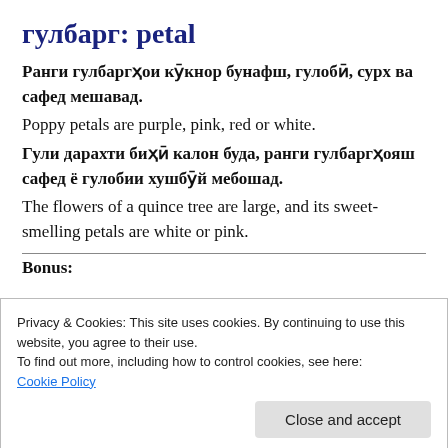гулбарг: petal
Ранги гулбаргҳои кӯкнор бунафш, гулобӣ, сурх ва сафед мешавад.
Poppy petals are purple, pink, red or white.
Гули дарахти биҳӣ калон буда, ранги гулбаргҳояш сафед ё гулобии хушбӯй мебошад.
The flowers of a quince tree are large, and its sweet-smelling petals are white or pink.
Bonus:
Privacy & Cookies: This site uses cookies. By continuing to use this website, you agree to their use.
To find out more, including how to control cookies, see here:
Cookie Policy
of poppy petals is purple, pink, red and white.